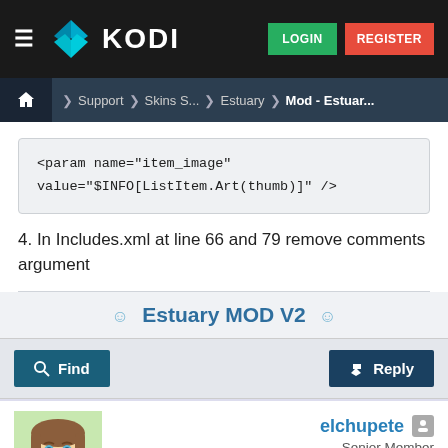KODI — LOGIN | REGISTER
Home > Support > Skins S... > Estuary > Mod - Estuar...
<param name="item_image" value="$INFO[ListItem.Art(thumb)]" />
4. In Includes.xml at line 66 and 79 remove comments argument
Estuary MOD V2
Find | Reply
elchupete
Senior Member